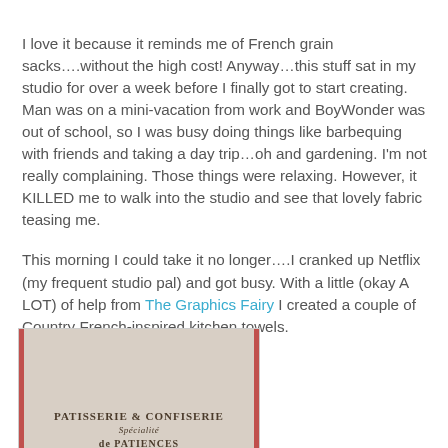I love it because it reminds me of French grain sacks….without the high cost! Anyway…this stuff sat in my studio for over a week before I finally got to start creating. Man was on a mini-vacation from work and BoyWonder was out of school, so I was busy doing things like barbequing with friends and taking a day trip…oh and gardening. I'm not really complaining. Those things were relaxing. However, it KILLED me to walk into the studio and see that lovely fabric teasing me.
This morning I could take it no longer….I cranked up Netflix (my frequent studio pal) and got busy. With a little (okay A LOT) of help from The Graphics Fairy I created a couple of Country French-inspired kitchen towels.
[Figure (photo): Photo of a fabric kitchen towel with French text 'PATISSERIE & CONFISERIE SPÉCIALITÉ PATIENCES' printed on it, with pinkish-red stripes on the sides]